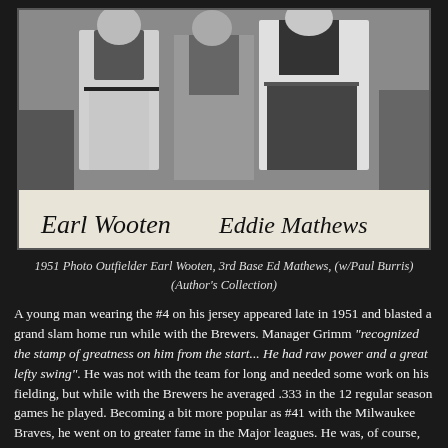[Figure (photo): Black and white photograph of two men, Outfielder Earl Wooten and 3rd Base Ed Mathews, with signatures below reading 'Earl Wooten' and 'Eddie Mathews'.]
1951 Photo Outfielder Earl Wooten, 3rd Base Ed Mathews, (w/Paul Burris) (Author's Collection)
A young man wearing the #4 on his jersey appeared late in 1951 and blasted a grand slam home run while with the Brewers. Manager Grimm "recognized the stamp of greatness on him from the start... He had raw power and a great lefty swing". He was not with the team for long and needed some work on his fielding, but while with the Brewers he averaged .333 in the 12 regular season games he played. Becoming a bit more popular as #41 with the Milwaukee Braves, he went on to greater fame in the Major leagues. He was, of course, Hall